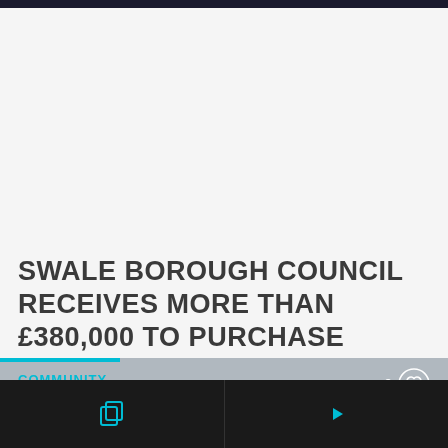SWALE BOROUGH COUNCIL RECEIVES MORE THAN £380,000 TO PURCHASE PERMANENT HOUSING FOR...
[Figure (photo): Partial view of a news article card with 'COMMUNITY' category tag, heart/like icon showing 0 likes, and a blurred/grey photo of an elderly man's face]